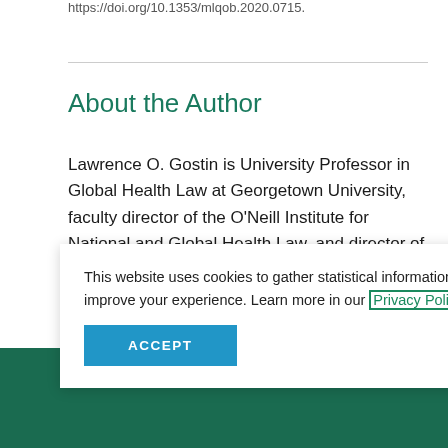https://doi.org/10.1353/mlqob.2020.0715.
About the Author
Lawrence O. Gostin is University Professor in Global Health Law at Georgetown University, faculty director of the O'Neill Institute for National and Global Health Law, and director of the World Health Organization (WHO) Collaborating Center on Public Health Law and
This website uses cookies to gather statistical information to track usage and improve your experience. Learn more in our Privacy Policy.
ACCEPT